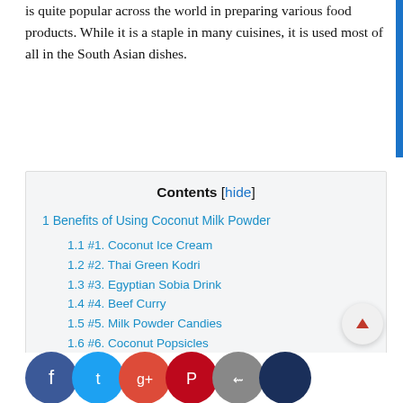is quite popular across the world in preparing various food products. While it is a staple in many cuisines, it is used most of all in the South Asian dishes.
Contents [hide]
1 Benefits of Using Coconut Milk Powder
1.1 #1. Coconut Ice Cream
1.2 #2. Thai Green Kodri
1.3 #3. Egyptian Sobia Drink
1.4 #4. Beef Curry
1.5 #5. Milk Powder Candies
1.6 #6. Coconut Popsicles
1.7 #7. Strawberry and Coconut Pancakes
1.8 #8. Coconut and Roasted Butternut Soup
1.9 #9. Coconut Smoothie
1.10 Coco... Chut...